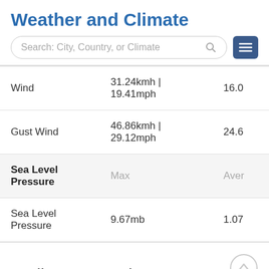Weather and Climate
[Figure (screenshot): Search bar with placeholder text 'Search: City, Country, or Climate' and a hamburger menu icon button]
|  | Max | Aver |
| --- | --- | --- |
| Wind | 31.24kmh | 19.41mph | 16.0 |
| Gust Wind | 46.86kmh | 29.12mph | 24.6 |
| Sea Level Pressure | Max | Aver |
| Sea Level Pressure | 9.67mb | 1.07 |
April 2019 Graph